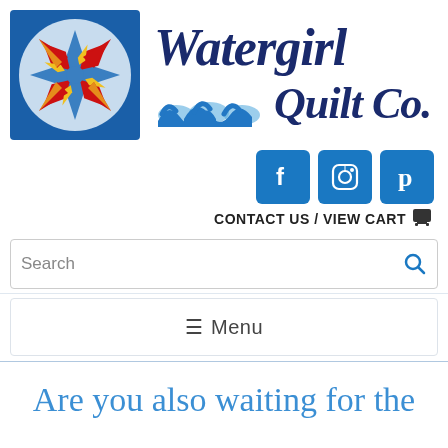[Figure (logo): Watergirl Quilt Co. logo with compass rose star quilt block in blue square and brand name in dark navy italic serif font with blue wave graphic]
[Figure (logo): Social media icons: Facebook (f), Instagram (camera), Pinterest (p) in blue rounded squares]
CONTACT US / VIEW CART 🛒
Search
☰ Menu
Are you also waiting for the